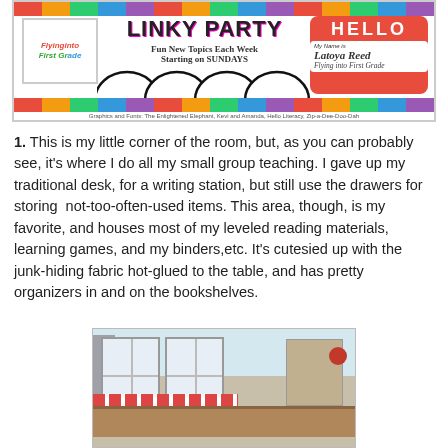[Figure (illustration): Colorful 'Linky Party' blog banner with polka dot borders, 'Flying into First Grade' logo box on left, 'Fun New Topics Each Week Starting on SUNDAYS' text in center, and a red 'HELLO My Name is Latoya Reed Flying into First Grade' name-tag badge on right. Footer credits: Graphics and Fonts: The Enlightened Elephant, Kevi and Amanda, Hello Literacy, Zip-a-Dee-Doo-Dah]
1.  This is my little corner of the room, but, as you can probably see, it's where I do all my small group teaching.  I gave up my traditional desk, for a writing station, but still use the drawers for storing  not-too-often-used items.  This area, though, is my favorite, and houses most of my leveled reading materials, learning games, and my binders,etc.  It's cutesied up with the junk-hiding fabric hot-glued to the table, and has pretty organizers in and on the bookshelves.
[Figure (photo): Photograph of a classroom corner showing windows with fabric valances, bookshelves with organizers on the left wall, colorful fabric-covered table, and decorative items on walls and shelves.]